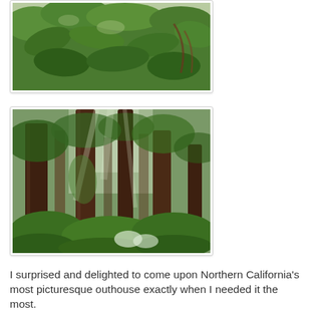[Figure (photo): Close-up photograph of dense green ferns and moss-covered vegetation in a Northern California forest understory.]
[Figure (photo): Photograph of tall redwood trees in a misty Northern California forest, with lush green undergrowth and light filtering through the canopy.]
I surprised and delighted to come upon Northern California's most picturesque outhouse exactly when I needed it the most.